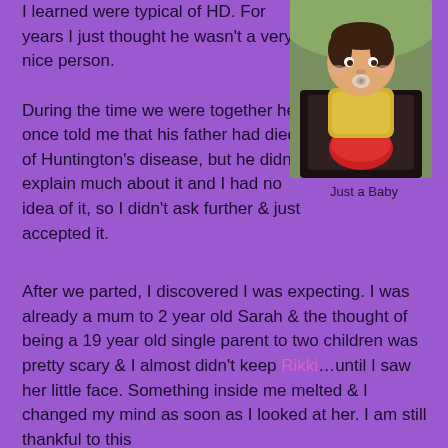I learned were typical of HD. For years I just thought he wasn't a very nice person.

During the time we were together he once told me that his father had died of Huntington's disease, but he didn't explain much about it and I had no idea of it, so I didn't ask further & just accepted it.
[Figure (photo): A baby sitting in a stroller/chair holding a red toy, wearing a yellow outfit with a pacifier in mouth]
Just a Baby
After we parted, I discovered I was expecting. I was already a mum to 2 year old Sarah & the thought of being a 19 year old single parent to two children was pretty scary & I almost didn't keep Rikki…until I saw her little face. Something inside me melted & I changed my mind as soon as I looked at her. I am still thankful to this